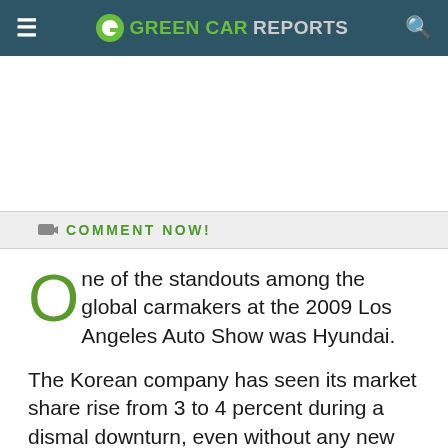GREEN CAR REPORTS
COMMENT NOW!
One of the standouts among the global carmakers at the 2009 Los Angeles Auto Show was Hyundai.
The Korean company has seen its market share rise from 3 to 4 percent during a dismal downturn, even without any new volume models to spur excitement.